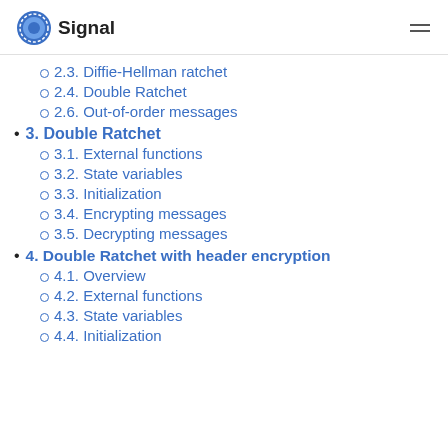Signal
2.3. Diffie-Hellman ratchet
2.4. Double Ratchet
2.6. Out-of-order messages
3. Double Ratchet
3.1. External functions
3.2. State variables
3.3. Initialization
3.4. Encrypting messages
3.5. Decrypting messages
4. Double Ratchet with header encryption
4.1. Overview
4.2. External functions
4.3. State variables
4.4. Initialization